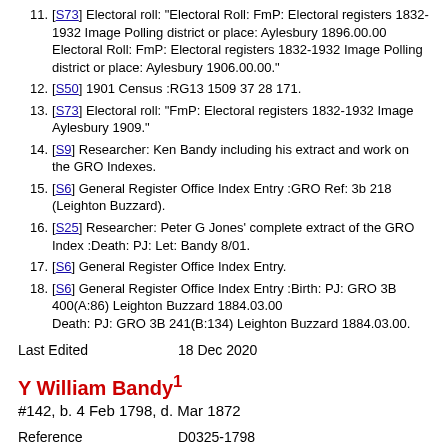11. [S73] Electoral roll: "Electoral Roll: FmP: Electoral registers 1832-1932 Image Polling district or place: Aylesbury 1896.00.00 Electoral Roll: FmP: Electoral registers 1832-1932 Image Polling district or place: Aylesbury 1906.00.00."
12. [S50] 1901 Census :RG13 1509 37 28 171.
13. [S73] Electoral roll: "FmP: Electoral registers 1832-1932 Image Aylesbury 1909."
14. [S9] Researcher: Ken Bandy including his extract and work on the GRO Indexes.
15. [S6] General Register Office Index Entry :GRO Ref: 3b 218 (Leighton Buzzard).
16. [S25] Researcher: Peter G Jones' complete extract of the GRO Index :Death: PJ: Let: Bandy 8/01.
17. [S6] General Register Office Index Entry.
18. [S6] General Register Office Index Entry :Birth: PJ: GRO 3B 400(A:86) Leighton Buzzard 1884.03.00 Death: PJ: GRO 3B 241(B:134) Leighton Buzzard 1884.03.00.
Last Edited    18 Dec 2020
Y William Bandy¹
#142, b. 4 Feb 1798, d. Mar 1872
Reference    D0325-1798
Father